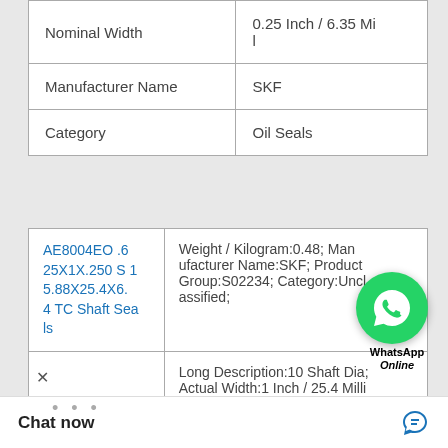|  |  |
| --- | --- |
| Nominal Width | 0.25 Inch / 6.35 Mil |
| Manufacturer Name | SKF |
| Category | Oil Seals |
|  |  |
| --- | --- |
| AE8004EO .625X1X.250 S 15.88X25.4X6.4 TC Shaft Seals | Weight / Kilogram:0.48; Manufacturer Name:SKF; Product Group:S02234; Category:Unclassified; |
|  | Long Description:10 Shaft Dia; Actual Width:1 Inch / 25.4 Millim; Inch - Metric:Inch; Weight / Kilogram:1.97; Housing Bore:12 Mill; Manufacturer:1000582; Seal :HDS2; Spring Loa |
Chat now